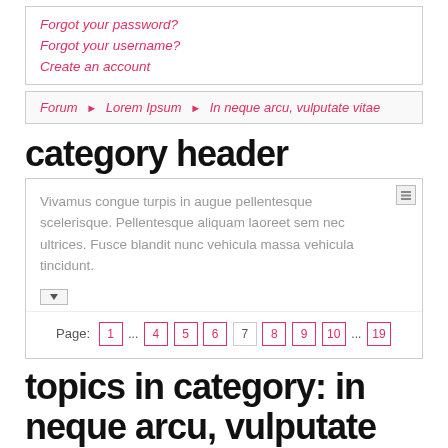Forgot your password?
Forgot your username?
Create an account
Forum ▶ Lorem Ipsum ▶ In neque arcu, vulputate vitae
category header
Vivamus congue turpis in augue pellentesque scelerisque. Pellentesque aliquam laoreet sem nec ultrices. Fusce blandit nunc vehicula massa vehicula tincidunt.
Page: 1 ... 4 5 6 7 8 9 10 ... 19
topics in category: in neque arcu, vulputate vitae
Resetek Deserunt